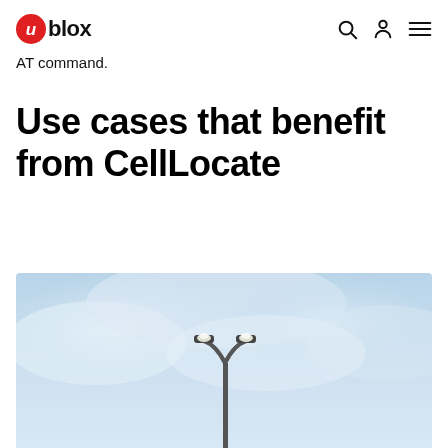u-blox
AT command.
Use cases that benefit from CellLocate
[Figure (photo): Street lamp photographed against a light blue cloudy sky, with the lamp head visible near the top center of the image.]